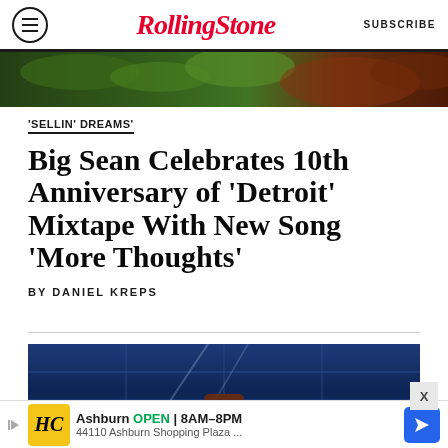RollingStone   SUBSCRIBE
[Figure (photo): Top cropped image showing greenery and warm-toned background]
'SELLIN' DREAMS'
Big Sean Celebrates 10th Anniversary of 'Detroit' Mixtape With New Song 'More Thoughts'
BY DANIEL KREPS
[Figure (photo): Concert photo of performer on stage with blue geometric background lighting, wearing a hat]
Ashburn  OPEN  8AM–8PM
44110 Ashburn Shopping Plaza ...